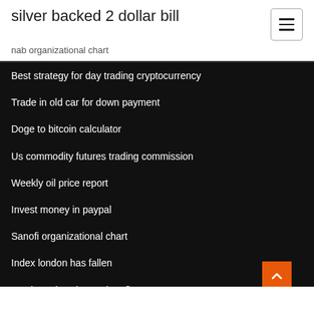silver backed 2 dollar bill
nab organizational chart
Best strategy for day trading cryptocurrency
Trade in old car for down payment
Doge to bitcoin calculator
Us commodity futures trading commission
Weekly oil price report
Invest money in paypal
Sanofi organizational chart
Index london has fallen
Stock market chart yahoo finance
Road board organizational chart